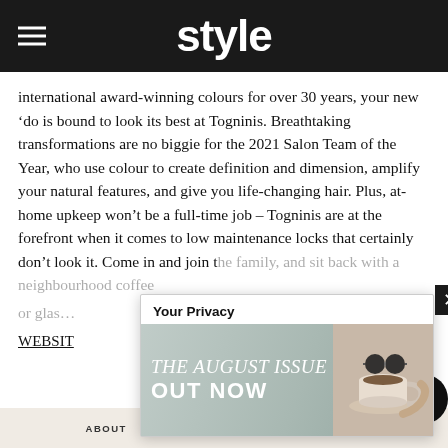style
international award-winning colours for over 30 years, your new ‘do is bound to look its best at Togninis. Breathtaking transformations are no biggie for the 2021 Salon Team of the Year, who use colour to create definition and dimension, amplify your natural features, and give you life-changing hair. Plus, at-home upkeep won’t be a full-time job – Togninis are at the forefront when it comes to low maintenance locks that certainly don’t look it. Come in and join the family, and sit back with a neighbourhood coffee or glass…
WEBSITE [and] and website with
[Figure (screenshot): Your Privacy popup with THE AUGUST ISSUE OUT NOW banner image showing a coffee cup]
ABOUT   PARTNERSHIPS   PRIVACY   T&CS